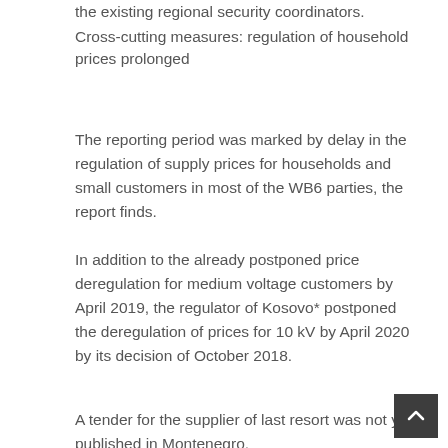Cross-cutting measures: regulation of household prices prolonged
The reporting period was marked by delay in the regulation of supply prices for households and small customers in most of the WB6 parties, the report finds.
In addition to the already postponed price deregulation for medium voltage customers by April 2019, the regulator of Kosovo* postponed the deregulation of prices for 10 kV by April 2020 by its decision of October 2018.
A tender for the supplier of last resort was not yet published in Montenegro,